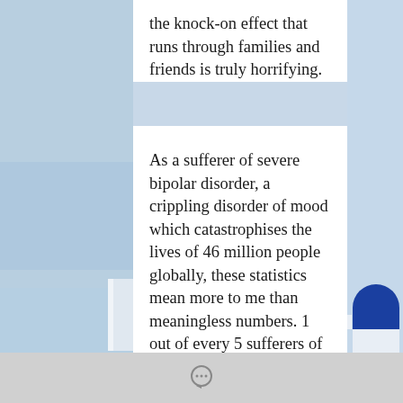the knock-on effect that runs through families and friends is truly horrifying.
As a sufferer of severe bipolar disorder, a crippling disorder of mood which catastrophises the lives of 46 million people globally, these statistics mean more to me than meaningless numbers. 1 out of every 5 sufferers of bipolar disorder chooses suicide to remove themselves from the terrifying rollercoaster of euphoric highs and devastating lows; it is a horrendous illness which is almost impossible to withstand, let alone recover from.